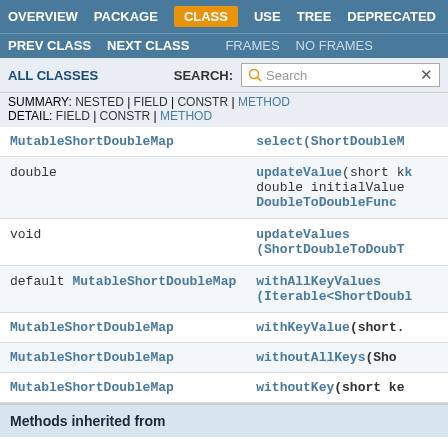OVERVIEW  PACKAGE  CLASS  USE  TREE  DEPRECATED
PREV CLASS  NEXT CLASS  FRAMES  NO FRAMES
ALL CLASSES  SEARCH:
SUMMARY: NESTED | FIELD | CONSTR | METHOD  DETAIL: FIELD | CONSTR | METHOD
| Type | Method |
| --- | --- |
| MutableShortDoubleMap | select(ShortDouble... |
| double | updateValue(short k, double initialValue, DoubleToDoubleFunc... |
| void | updateValues(ShortDoubleToDoub... |
| default MutableShortDoubleMap | withAllKeyValues(Iterable<ShortDoub... |
| MutableShortDoubleMap | withKeyValue(short... |
| MutableShortDoubleMap | withoutAllKeys(Sho... |
| MutableShortDoubleMap | withoutKey(short ke... |
Methods inherited from